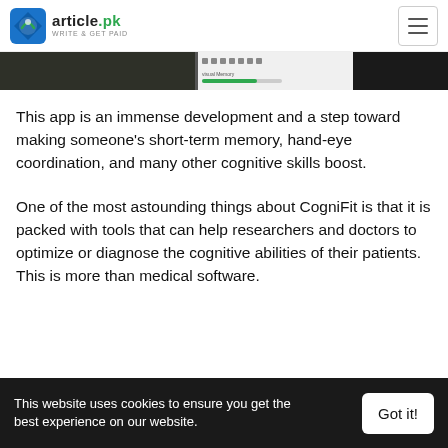article.pk — WRITE & GET PAID
[Figure (screenshot): Partial screenshot showing a dark image on the left and a software interface panel on the right with a green progress bar]
This app is an immense development and a step toward making someone's short-term memory, hand-eye coordination, and many other cognitive skills boost.
One of the most astounding things about CogniFit is that it is packed with tools that can help researchers and doctors to optimize or diagnose the cognitive abilities of their patients. This is more than medical software.
This website uses cookies to ensure you get the best experience on our website.